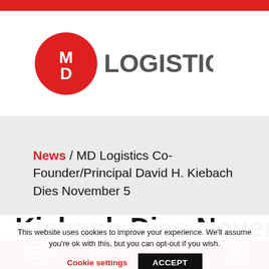[Figure (logo): MD Logistics logo: red circle with white 'MD' text and 'LOGISTICS' in gray bold text to the right]
News / MD Logistics Co-Founder/Principal David H. Kiebach Dies November 5
This website uses cookies to improve your experience. We'll assume you're ok with this, but you can opt-out if you wish.
Cookie settings   ACCEPT
Kiebach Dies November 5
hamburger menu | email | phone | LinkedIn